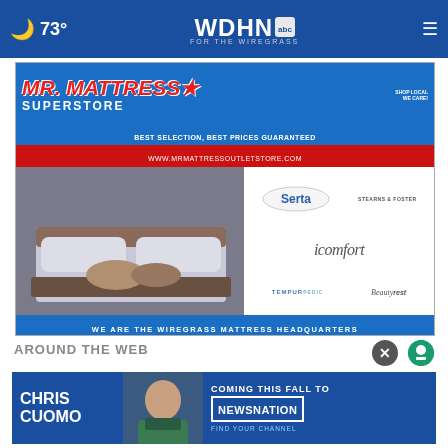🌙 73° | WDHN FOR THE WIREGRASS
[Figure (advertisement): Mr. Mattress Superstore advertisement showing logo, bed image, brand logos (Serta, Stearns & Foster, icomfort, Tempur-Pedic, Beautyrest), tagline 'WE ARE THE WIREGRASS MATTRESS HEADQUARTERS', and store locations: Andalusia, Dothan, Enterprise, Crestview, Troy]
AROUND THE WEB
[Figure (advertisement): Chris Cuomo Coming This Fall to NewsNation - Find Your Channel promotional banner ad]